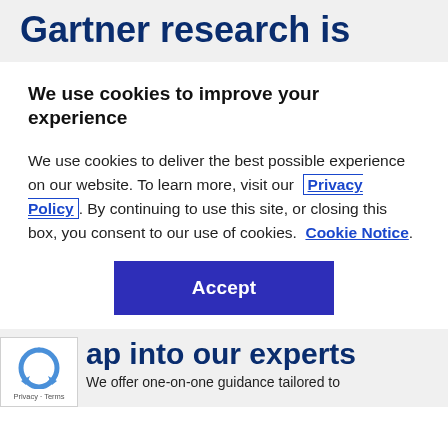Gartner research is
We use cookies to improve your experience
We use cookies to deliver the best possible experience on our website. To learn more, visit our  Privacy Policy. By continuing to use this site, or closing this box, you consent to our use of cookies.  Cookie Notice.
Accept
ap into our experts
We offer one-on-one guidance tailored to